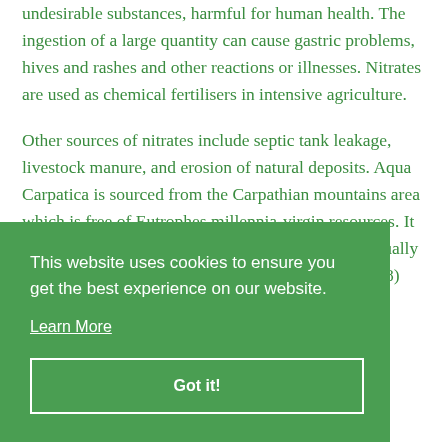undesirable substances, harmful for human health. The ingestion of a large quantity can cause gastric problems, hives and rashes and other reactions or illnesses. Nitrates are used as chemical fertilisers in intensive agriculture.
Other sources of nitrates include septic tank leakage, livestock manure, and erosion of natural deposits. Aqua Carpatica is sourced from the Carpathian mountains area which is free of Eutrophes millennia-virgin resources. It is naturally very low in sodium (only 0.6 mg/l), virtually nitrate free (only 0.2 mg/l), naturally alkaline (Ph 7.8) and contains natural electrolytes. Aqua Carpatica is drawn from two pristine and pure aquifers,
This website uses cookies to ensure you get the best experience on our website.
Learn More
Got it!